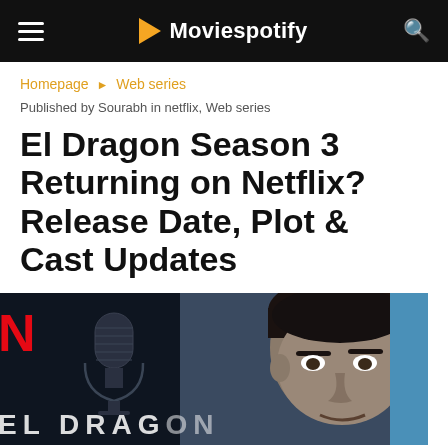Moviespotify
Homepage › Web series
Published by Sourabh in netflix, Web series
El Dragon Season 3 Returning on Netflix? Release Date, Plot & Cast Updates
[Figure (photo): El Dragon Netflix show promotional image featuring the Netflix N logo on the left, a vintage microphone silhouette in the center-left, and a man's face on the right against a dark background. The text EL DRAGON appears at the bottom in large white letters.]